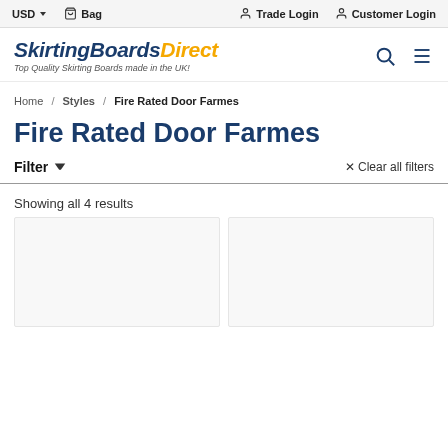USD  Bag  Trade Login  Customer Login
[Figure (logo): SkirtingBoardsDirect logo with tagline 'Top Quality Skirting Boards made in the UK!']
Home / Styles / Fire Rated Door Farmes
Fire Rated Door Farmes
Filter  ∨   × Clear all filters
Showing all 4 results